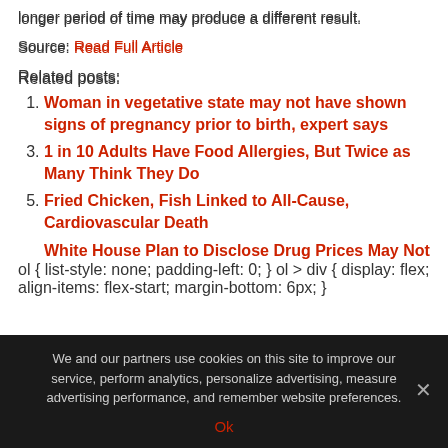longer period of time may produce a different result.
Source: Read Full Article
Related posts:
Woman in vegetative state may not have shown signs of pregnancy prior to birth, expert says
1 in 10 Adults Have Food Allergies, But Twice as Many Think They Do
Fried Chicken, Fish Linked to All-Cause, Cardiovascular Death
White House Plan to Disclose Drug Prices May Not
We and our partners use cookies on this site to improve our service, perform analytics, personalize advertising, measure advertising performance, and remember website preferences.
Ok